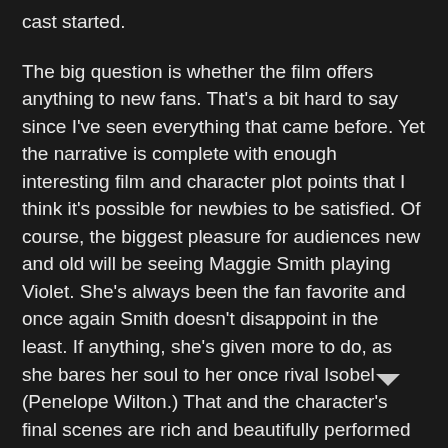cast started.
The big question is whether the film offers anything to new fans. That's a bit hard to say since I've seen everything that came before. Yet the narrative is complete with enough interesting film and character plot points that I think it's possible for newbies to be satisfied. Of course, the biggest pleasure for audiences new and old will be seeing Maggie Smith playing Violet. She's always been the fan favorite and once again Smith doesn't disappoint in the least. If anything, she's given more to do, as she bares her soul to her once rival Isobel (Penelope Wilton.) That and the character's final scenes are rich and beautifully performed by Smith. It is a treasure to still get to see her in this (or any) role today.
There are a lot of characters here and the spouses of the primary figures aren't given much to do (Mary's husband